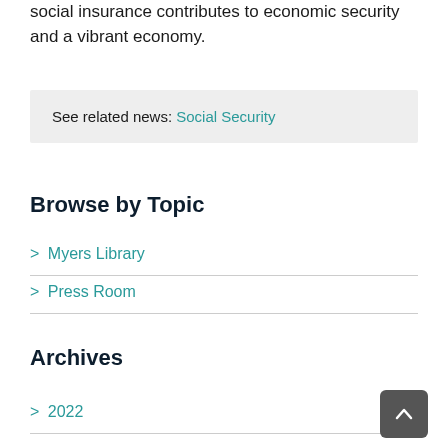social insurance contributes to economic security and a vibrant economy.
See related news: Social Security
Browse by Topic
> Myers Library
> Press Room
Archives
> 2022